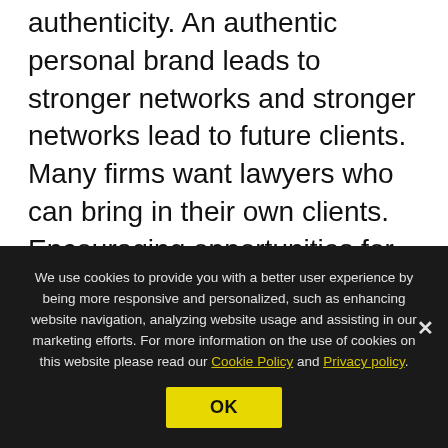authenticity. An authentic personal brand leads to stronger networks and stronger networks lead to future clients.
Many firms want lawyers who can bring in their own clients. Encouraging opportunities for younger lawyers to create their own authentic personal brands will set them on the path to build their own networks and personal value. This can bring in more business to the firm and assist with promotions to higher levels in the law...
We use cookies to provide you with a better user experience by being more responsive and personalized, such as enhancing website navigation, analyzing website usage and assisting in our marketing efforts. For more information on the use of cookies on this website please read our Cookie Policy and Privacy policy.